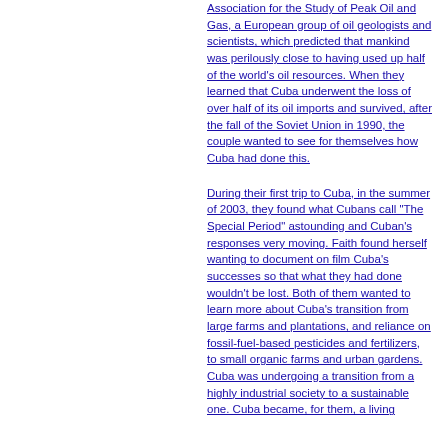Association for the Study of Peak Oil and Gas, a European group of oil geologists and scientists, which predicted that mankind was perilously close to having used up half of the world's oil resources. When they learned that Cuba underwent the loss of over half of its oil imports and survived, after the fall of the Soviet Union in 1990, the couple wanted to see for themselves how Cuba had done this.
During their first trip to Cuba, in the summer of 2003, they found what Cubans call "The Special Period" astounding and Cuban's responses very moving. Faith found herself wanting to document on film Cuba's successes so that what they had done wouldn't be lost. Both of them wanted to learn more about Cuba's transition from large farms and plantations, and reliance on fossil-fuel-based pesticides and fertilizers, to small organic farms and urban gardens. Cuba was undergoing a transition from a highly industrial society to a sustainable one. Cuba became, for them, a living